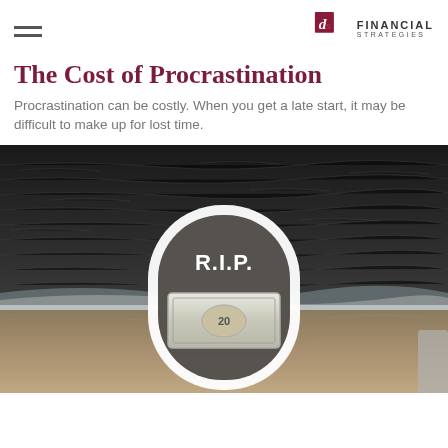DS Financial Strategies
The Cost of Procrastination
Procrastination can be costly. When you get a late start, it may be difficult to make up for lost time.
[Figure (illustration): A gravestone with 'R.I.P.' text and a bill/money graphic, set against a dark textured ocean/water background. The image illustrates the cost of procrastination in financial planning.]